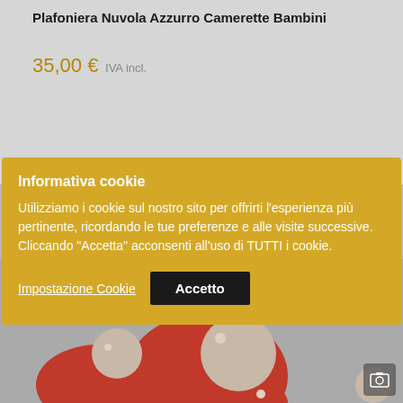Plafoniera Nuvola Azzurro Camerette Bambini
35,00 € IVA incl.
Informativa cookie
Utilizziamo i cookie sul nostro sito per offrirti l'esperienza più pertinente, ricordando le tue preferenze e alle visite successive. Cliccando "Accetta" acconsenti all'uso di TUTTI i cookie.
Impostazione Cookie   Accetto
[Figure (photo): Partial view of a children's ceiling lamp product (red and beige curved shapes visible at bottom)]